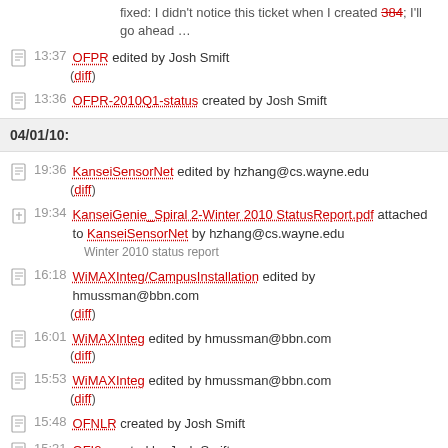fixed: I didn't notice this ticket when I created 384; I'll go ahead …
13:37 OFPR edited by Josh Smift (diff)
13:36 OFPR-2010Q1-status created by Josh Smift
04/01/10:
19:36 KanseiSensorNet edited by hzhang@cs.wayne.edu (diff)
19:34 KanseiGenie_Spiral 2-Winter 2010 StatusReport.pdf attached to KanseiSensorNet by hzhang@cs.wayne.edu — Winter 2010 status report
16:18 WiMAXInteg/CampusInstallation edited by hmussman@bbn.com (diff)
16:01 WiMAXInteg edited by hmussman@bbn.com (diff)
15:53 WiMAXInteg edited by hmussman@bbn.com (diff)
15:48 OFNLR created by Josh Smift
15:31 OFI2 created by Josh Smift